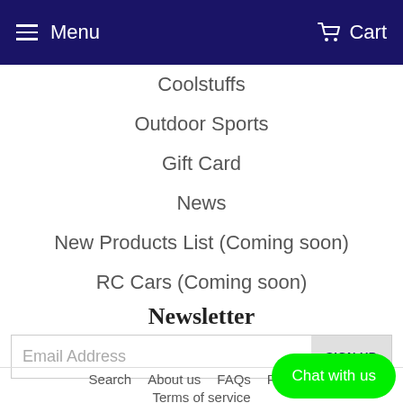Menu   Cart
Coolstuffs
Outdoor Sports
Gift Card
News
New Products List (Coming soon)
RC Cars (Coming soon)
Newsletter
Email Address   SIGN UP
Search   About us   FAQs   Returns   Terms of service